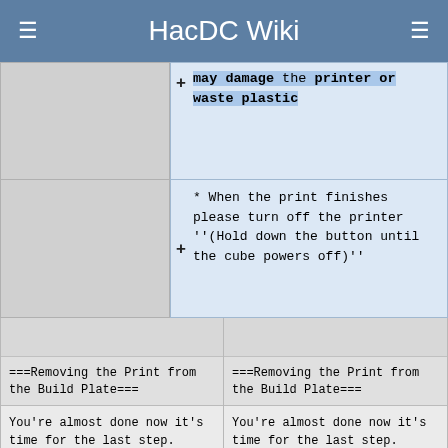HacDC Wiki
may damage the printer or waste plastic
* When the print finishes please turn off the printer ''(Hold down the button until the cube powers off)''
===Removing the Print from the Build Plate===
===Removing the Print from the Build Plate===
You're almost done now it's time for the last step.  Removing the print from the build plate.
You're almost done now it's time for the last step.  Removing the print from the build plate.